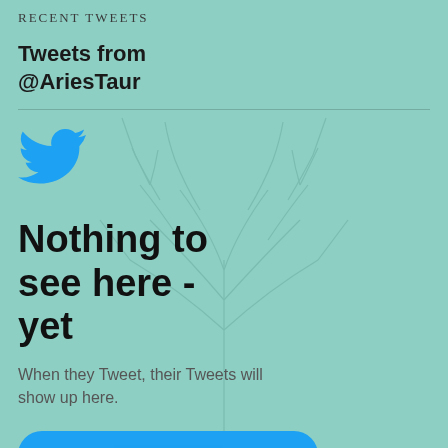RECENT TWEETS
Tweets from @AriesTaur
[Figure (logo): Twitter bird logo icon in blue]
Nothing to see here - yet
When they Tweet, their Tweets will show up here.
View on Twitter (button, partially visible)